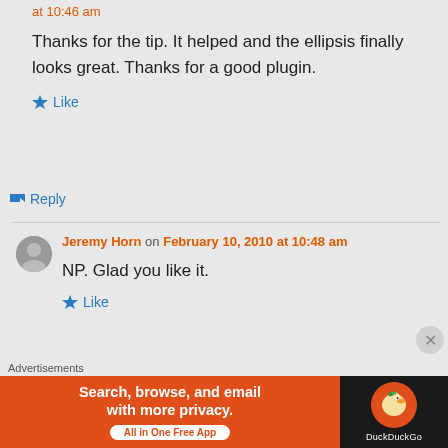at 10:46 am
Thanks for the tip. It helped and the ellipsis finally looks great. Thanks for a good plugin.
★ Like
↳ Reply
Jeremy Horn on February 10, 2010 at 10:48 am
NP. Glad you like it.
★ Like
Advertisements
[Figure (other): DuckDuckGo advertisement banner: Search, browse, and email with more privacy. All in One Free App. DuckDuckGo logo on dark background.]